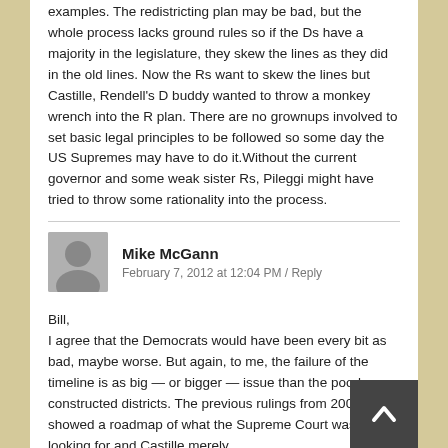examples. The redistricting plan may be bad, but the whole process lacks ground rules so if the Ds have a majority in the legislature, they skew the lines as they did in the old lines. Now the Rs want to skew the lines but Castille, Rendell's D buddy wanted to throw a monkey wrench into the R plan. There are no grownups involved to set basic legal principles to be followed so some day the US Supremes may have to do it.Without the current governor and some weak sister Rs, Pileggi might have tried to throw some rationality into the process.
Mike McGann
February 7, 2012 at 12:04 PM / Reply
Bill,
I agree that the Democrats would have been every bit as bad, maybe worse. But again, to me, the failure of the timeline is as big — or bigger — issue than the poorly constructed districts. The previous rulings from 2001 showed a roadmap of what the Supreme Court was looking for and Castille merely